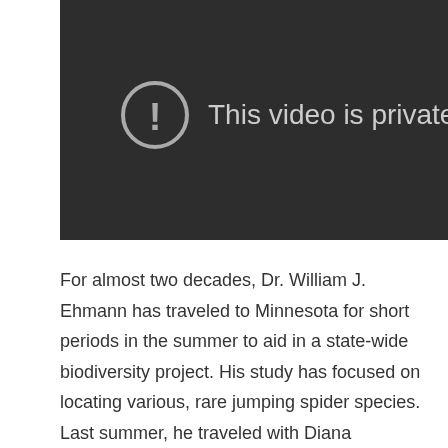[Figure (screenshot): A dark video player placeholder showing a circle with exclamation mark icon and the text 'This video is private']
For almost two decades, Dr. William J. Ehmann has traveled to Minnesota for short periods in the summer to aid in a state-wide biodiversity project. His study has focused on locating various, rare jumping spider species. Last summer, he traveled with Diana Jacobsmeyer.